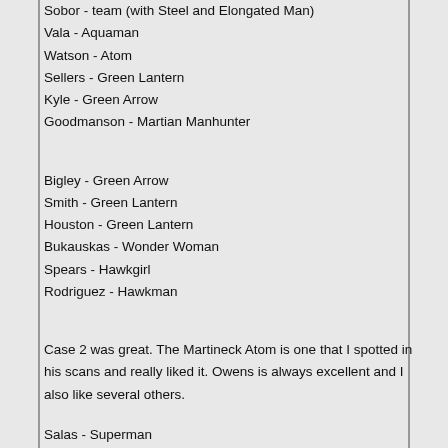Sobor - team (with Steel and Elongated Man)
Vala - Aquaman
Watson - Atom
Sellers - Green Lantern
Kyle - Green Arrow
Goodmanson - Martian Manhunter
Bigley - Green Arrow
Smith - Green Lantern
Houston - Green Lantern
Bukauskas - Wonder Woman
Spears - Hawkgirl
Rodriguez - Hawkman
Case 2 was great. The Martineck Atom is one that I spotted in his scans and really liked it. Owens is always excellent and I also like several others.
Salas - Superman
Breen - some alternate Hawkman?
Pacheo - Black Canary
Owens - Wonder Woman
Ohlendorf - Green Arrow
Molinelli - Wonder Woman
Fiorentino - Aquaman
Moreno - Green Arrow
Engstom - Batman